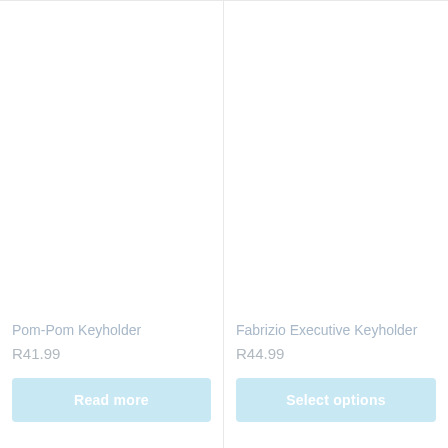Pom-Pom Keyholder
R41.99
Read more
Fabrizio Executive Keyholder
R44.99
Select options